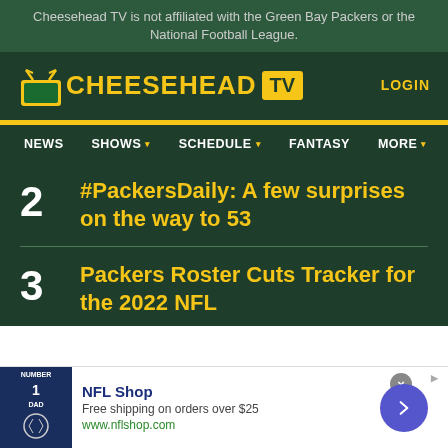Cheesehead TV is not affiliated with the Green Bay Packers or the National Football League.
[Figure (logo): Cheesehead TV logo with yellow text and TV icon]
LOGIN
NEWS  SHOWS  SCHEDULE  FANTASY  MORE
2  #PackersDaily: A few surprises on the way to 53
3  Packers Roster Cuts Tracker for the 2022 NFL
[Figure (screenshot): NFL Shop advertisement with jersey image, Free shipping on orders over $25, www.nflshop.com]